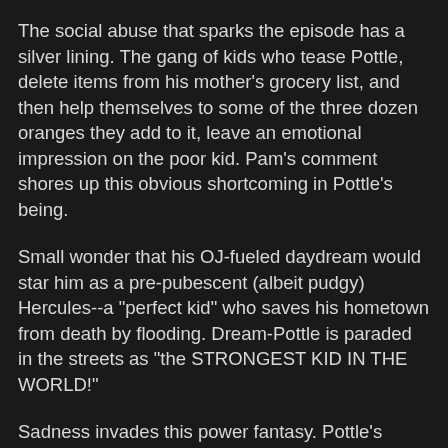The social abuse that sparks the episode has a silver lining. The gang of kids who tease Pottle, delete items from his mother's grocery list, and then help themselves to some of the three dozen oranges they add to it, leave an emotional impression on the poor kid. Pam's comment shores up this obvious shortcoming in Pottle's being.
Small wonder that his OJ-fueled daydream would star him as a pre-pubescent (albeit pudgy) Hercules--a "perfect kid" who saves his hometown from death by flooding. Dream-Pottle is paraded in the streets as "the STRONGEST KID IN THE WORLD!"
Sadness invades this power fantasy. Pottle's score-settling with the street-kids never happens. A flood interrupts the only chance for revenge this poor soul might have. Peterkin heroically drops his grudge for the good of the townsfolk, who do laud him.
In the course of his heroic rescue, he saves Pam and her family from drowning. Peterkin notes to himself, as he swims